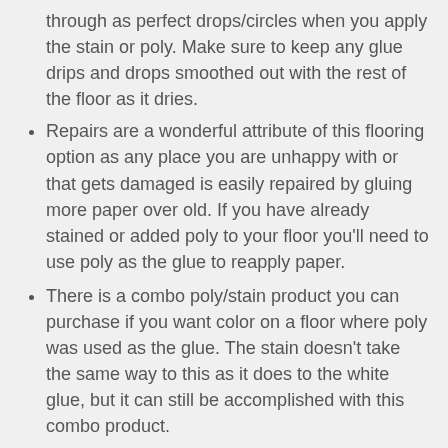through as perfect drops/circles when you apply the stain or poly. Make sure to keep any glue drips and drops smoothed out with the rest of the floor as it dries.
Repairs are a wonderful attribute of this flooring option as any place you are unhappy with or that gets damaged is easily repaired by gluing more paper over old. If you have already stained or added poly to your floor you'll need to use poly as the glue to reapply paper.
There is a combo poly/stain product you can purchase if you want color on a floor where poly was used as the glue. The stain doesn't take the same way to this as it does to the white glue, but it can still be accomplished with this combo product.
Use enough polyurethane. It will take at least 4 coats to seal your floor and provide some protection, although personally I wouldn't do any less than 6 coats on top and have seen several who recommend twice that amount. After about the 4th coat you'll start to